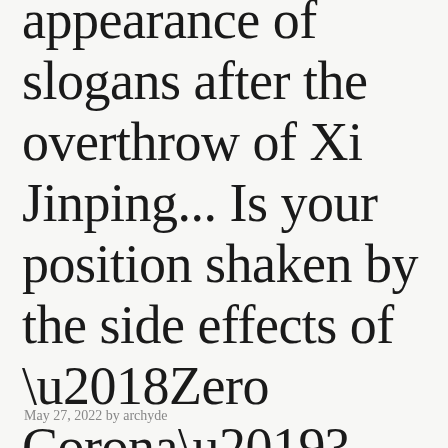appearance of slogans after the overthrow of Xi Jinping... Is your position shaken by the side effects of ‘Zero Corona’?
May 27, 2022 by archyde